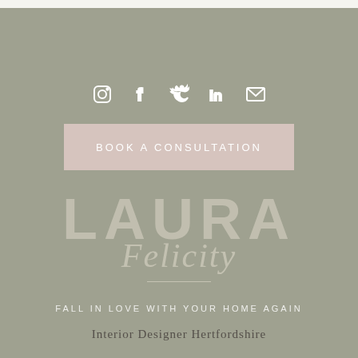[Figure (logo): Social media icons row: Instagram, Facebook, Twitter, LinkedIn, Email — white outline icons on sage green background]
BOOK A CONSULTATION
LAURA Felicity
FALL IN LOVE WITH YOUR HOME AGAIN
Interior Designer Hertfordshire